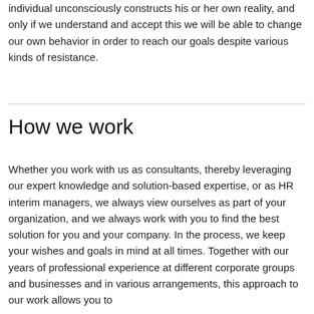individual unconsciously constructs his or her own reality, and only if we understand and accept this we will be able to change our own behavior in order to reach our goals despite various kinds of resistance.
How we work
Whether you work with us as consultants, thereby leveraging our expert knowledge and solution-based expertise, or as HR interim managers, we always view ourselves as part of your organization, and we always work with you to find the best solution for you and your company. In the process, we keep your wishes and goals in mind at all times. Together with our years of professional experience at different corporate groups and businesses and in various arrangements, this approach to our work allows you to